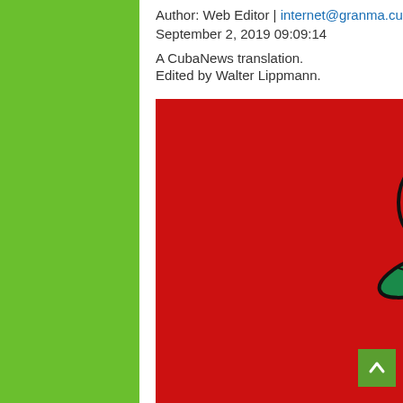Author: Web Editor | internet@granma.cu
September 2, 2019 09:09:14
A CubaNews translation.
Edited by Walter Lippmann.
[Figure (logo): Democratic Socialist of America (DSA) logo: a white fist holding a red rose with green leaves on a red background.]
Democratic Socialist of America (DSA) Photo: Prensa Latina
Washington, The Democratic Socialist Organization of America (DSA) expressed its solidarity with the people of Cuba and expressed its categorical opposition to the economic, commercial and financial blockade that the United States maintains today against the island.